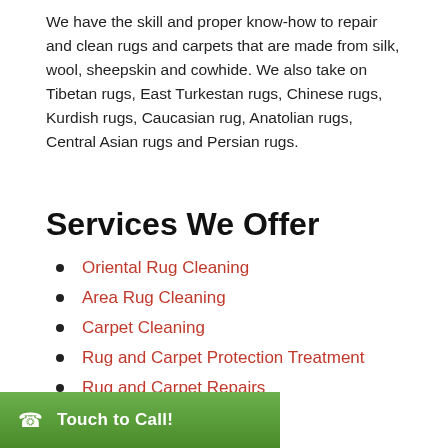We have the skill and proper know-how to repair and clean rugs and carpets that are made from silk, wool, sheepskin and cowhide. We also take on Tibetan rugs, East Turkestan rugs, Chinese rugs, Kurdish rugs, Caucasian rug, Anatolian rugs, Central Asian rugs and Persian rugs.
Services We Offer
Oriental Rug Cleaning
Area Rug Cleaning
Carpet Cleaning
Rug and Carpet Protection Treatment
Rug and Carpet Repairs
Pet Stain Removal
Touch to Call!